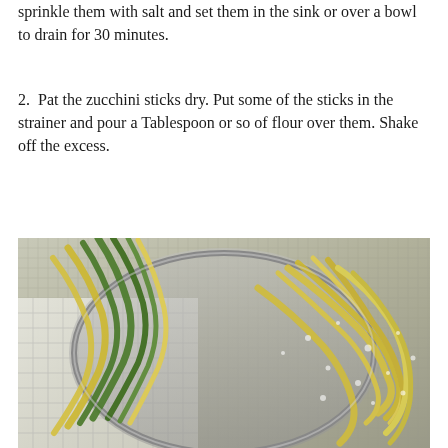sprinkle them with salt and set them in the sink or over a bowl to drain for 30 minutes.
2.  Pat the zucchini sticks dry. Put some of the sticks in the strainer and pour a Tablespoon or so of flour over them. Shake off the excess.
[Figure (photo): Photo of spiralized/julienned zucchini and yellow squash sticks in and around a metal strainer/colander, placed on a checkered kitchen towel, dusted with flour.]